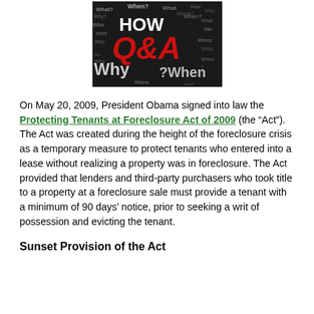[Figure (illustration): Q&A word cloud image with red Q&A text and black/white background words like How, Why, What, When, Who]
On May 20, 2009, President Obama signed into law the Protecting Tenants at Foreclosure Act of 2009 (the “Act”). The Act was created during the height of the foreclosure crisis as a temporary measure to protect tenants who entered into a lease without realizing a property was in foreclosure. The Act provided that lenders and third-party purchasers who took title to a property at a foreclosure sale must provide a tenant with a minimum of 90 days’ notice, prior to seeking a writ of possession and evicting the tenant.
Sunset Provision of the Act